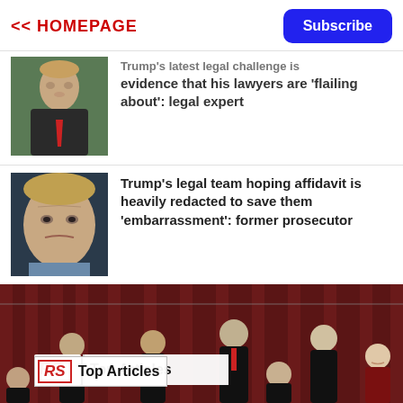<< HOMEPAGE
Subscribe
[Figure (photo): Photo of Donald Trump in suit with red tie, looking stern, outdoors]
Trump's latest legal challenge is evidence that his lawyers are 'flailing about': legal expert
[Figure (photo): Close-up photo of Donald Trump looking serious]
Trump's legal team hoping affidavit is heavily redacted to save them 'embarrassment': former prosecutor
[Figure (photo): Group photo of US Supreme Court justices in black robes standing in front of red curtains]
RS  Top Articles